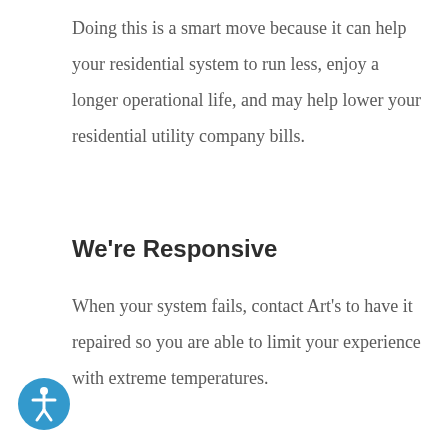Doing this is a smart move because it can help your residential system to run less, enjoy a longer operational life, and may help lower your residential utility company bills.
We're Responsive
When your system fails, contact Art's to have it repaired so you are able to limit your experience with extreme temperatures.